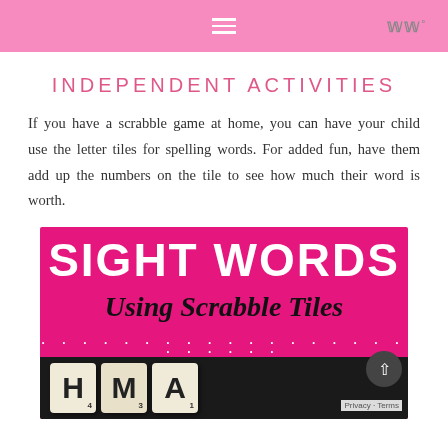≡ ꟷꟷꟷ
INDEPENDENT ACTIVITIES
If you have a scrabble game at home, you can have your child use the letter tiles for spelling words. For added fun, have them add up the numbers on the tile to see how much their word is worth.
[Figure (illustration): Hot pink promotional image with white bold text reading 'SIGHT WORDS' and cursive-style black text 'Using Scrabble Tiles', white polka dots border, and scrabble letter tiles H, M, A visible at the bottom on dark background.]